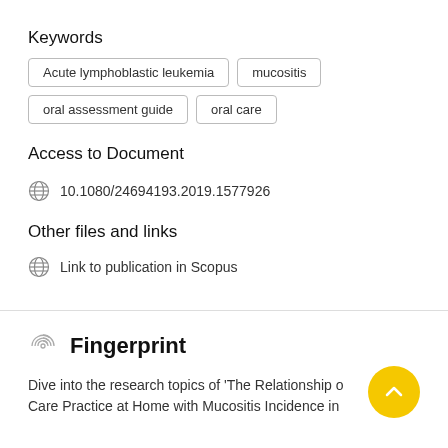Keywords
Acute lymphoblastic leukemia
mucositis
oral assessment guide
oral care
Access to Document
10.1080/24694193.2019.1577926
Other files and links
Link to publication in Scopus
Fingerprint
Dive into the research topics of 'The Relationship o… Care Practice at Home with Mucositis Incidence in